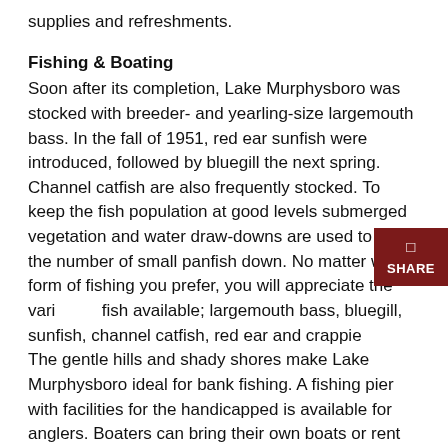supplies and refreshments.
Fishing & Boating
Soon after its completion, Lake Murphysboro was stocked with breeder- and yearling-size largemouth bass. In the fall of 1951, red ear sunfish were introduced, followed by bluegill the next spring. Channel catfish are also frequently stocked. To keep the fish population at good levels submerged vegetation and water draw-downs are used to keep the number of small panfish down. No matter what form of fishing you prefer, you will appreciate the variety of fish available; largemouth bass, bluegill, sunfish, channel catfish, red ear and crappie
The gentle hills and shady shores make Lake Murphysboro ideal for bank fishing. A fishing pier with facilities for the handicapped is available for anglers. Boaters can bring their own boats or rent one near the boat launch and docks. The outboard motor limit is 10 hp.
Bank and boat fishing are also available on the smaller lake, but no motorboats are allowed.